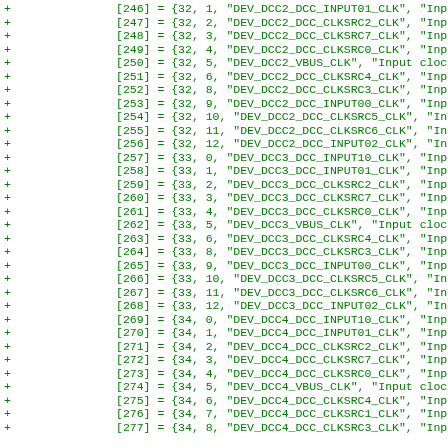[246] = {32, 1, "DEV_DCC2_DCC_INPUT01_CLK", "Input cl
[247] = {32, 2, "DEV_DCC2_DCC_CLKSRC2_CLK", "Input cl
[248] = {32, 3, "DEV_DCC2_DCC_CLKSRC7_CLK", "Input cl
[249] = {32, 4, "DEV_DCC2_DCC_CLKSRC0_CLK", "Input cl
[250] = {32, 5, "DEV_DCC2_VBUS_CLK", "Input clock"},
[251] = {32, 6, "DEV_DCC2_DCC_CLKSRC4_CLK", "Input cl
[252] = {32, 8, "DEV_DCC2_DCC_CLKSRC3_CLK", "Input cl
[253] = {32, 9, "DEV_DCC2_DCC_INPUT00_CLK", "Input cl
[254] = {32, 10, "DEV_DCC2_DCC_CLKSRC5_CLK", "Input c
[255] = {32, 11, "DEV_DCC2_DCC_CLKSRC6_CLK", "Input c
[256] = {32, 12, "DEV_DCC2_DCC_INPUT02_CLK", "Input c
[257] = {33, 0, "DEV_DCC3_DCC_INPUT10_CLK", "Input cl
[258] = {33, 1, "DEV_DCC3_DCC_INPUT01_CLK", "Input cl
[259] = {33, 2, "DEV_DCC3_DCC_CLKSRC2_CLK", "Input cl
[260] = {33, 3, "DEV_DCC3_DCC_CLKSRC7_CLK", "Input cl
[261] = {33, 4, "DEV_DCC3_DCC_CLKSRC0_CLK", "Input cl
[262] = {33, 5, "DEV_DCC3_VBUS_CLK", "Input clock"},
[263] = {33, 6, "DEV_DCC3_DCC_CLKSRC4_CLK", "Input cl
[264] = {33, 8, "DEV_DCC3_DCC_CLKSRC3_CLK", "Input cl
[265] = {33, 9, "DEV_DCC3_DCC_INPUT00_CLK", "Input cl
[266] = {33, 10, "DEV_DCC3_DCC_CLKSRC5_CLK", "Input c
[267] = {33, 11, "DEV_DCC3_DCC_CLKSRC6_CLK", "Input c
[268] = {33, 12, "DEV_DCC3_DCC_INPUT02_CLK", "Input c
[269] = {34, 0, "DEV_DCC4_DCC_INPUT10_CLK", "Input cl
[270] = {34, 1, "DEV_DCC4_DCC_INPUT01_CLK", "Input cl
[271] = {34, 2, "DEV_DCC4_DCC_CLKSRC2_CLK", "Input cl
[272] = {34, 3, "DEV_DCC4_DCC_CLKSRC7_CLK", "Input cl
[273] = {34, 4, "DEV_DCC4_DCC_CLKSRC0_CLK", "Input cl
[274] = {34, 5, "DEV_DCC4_VBUS_CLK", "Input clock"},
[275] = {34, 6, "DEV_DCC4_DCC_CLKSRC4_CLK", "Input cl
[276] = {34, 7, "DEV_DCC4_DCC_CLKSRC1_CLK", "Input cl
[277] = {34, 8, "DEV_DCC4_DCC_CLKSRC3_CLK", "Input cl